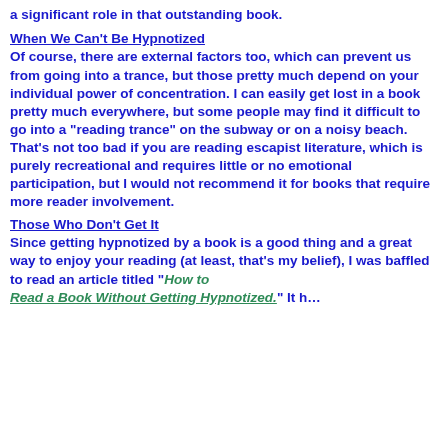a significant role in that outstanding book.
When We Can't Be Hypnotized
Of course, there are external factors too, which can prevent us from going into a trance, but those pretty much depend on your individual power of concentration. I can easily get lost in a book pretty much everywhere, but some people may find it difficult to go into a "reading trance" on the subway or on a noisy beach. That's not too bad if you are reading escapist literature, which is purely recreational and requires little or no emotional participation, but I would not recommend it for books that require more reader involvement.
Those Who Don't Get It
Since getting hypnotized by a book is a good thing and a great way to enjoy your reading (at least, that's my belief), I was baffled to read an article titled "How to Read a Book Without Getting Hypnotized." It h…